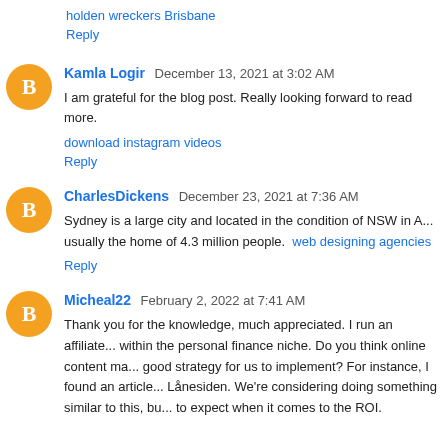holden wreckers Brisbane
Reply
Kamla Logir  December 13, 2021 at 3:02 AM
I am grateful for the blog post. Really looking forward to read more.
download instagram videos
Reply
CharlesDickens  December 23, 2021 at 7:36 AM
Sydney is a large city and located in the condition of NSW in A... usually the home of 4.3 million people.  web designing agencies
Reply
Micheal22  February 2, 2022 at 7:41 AM
Thank you for the knowledge, much appreciated. I run an affiliate... within the personal finance niche. Do you think online content ma... good strategy for us to implement? For instance, I found an article... Lånesiden. We're considering doing something similar to this, bu... to expect when it comes to the ROI.